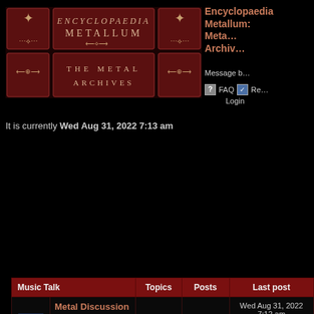[Figure (logo): Encyclopaedia Metallum: The Metal Archives logo banner with dark red ornate design]
Encyclopaedia Metallum: Metal Archives Message Board
? FAQ  Register  Login
It is currently Wed Aug 31, 2022 7:13 am
| Music Talk |  | Topics | Posts | Last post |
| --- | --- | --- | --- | --- |
| [icon] | Metal Discussion
Discussion about anything metal-related. | 22162 | 908496 | Wed Aug 31, 2022 7:12 am
kovner1972 |
| [icon] | Recommendation Central
Looking to take all of that pesky legwork out of your listening experience? Click here. | 7646 | 161851 | Tue Aug 30, 2022 5:53 am
Dr_Fiemost |
| [icon] | For the Musicians
Forum for musicians - discuss songwriting, | 5730 | 70000 | Wed Aug 31, 2022 12:17 am |